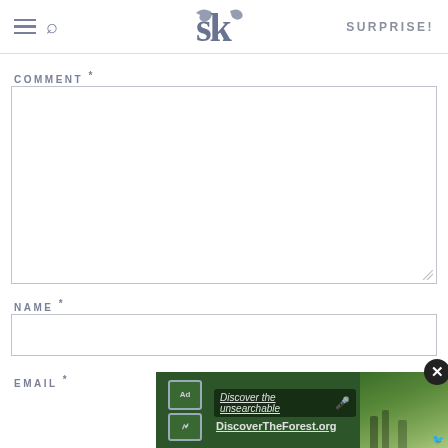SK — SURPRISE!
COMMENT *
NAME *
EMAIL *
[Figure (screenshot): Ad banner at bottom: 'Discover the unsearchable - DiscoverTheForest.org' with forest photo and close button]